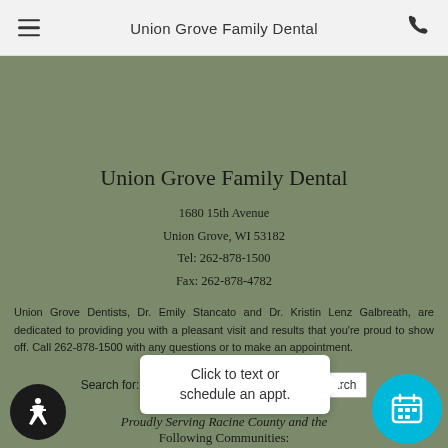Union Grove Family Dental
Union Grove Family Dental
1680 15th Avenue
Union Grove, WI 53182
Tel: 262-878-1500
Fax: 262-878-4782
Union Grove Dentists, Dr. Emily Stancato and Dr. Kristin Lenz Galbreath, are dedicated to providing you with a pleasant visit and results that you're proud to show off. Call 262-878-1500 with any questions or to make an appointment.
Search for: [input] Search
Click to text or schedule an appt.
Proudly Serving Racine County and the Following Communities: